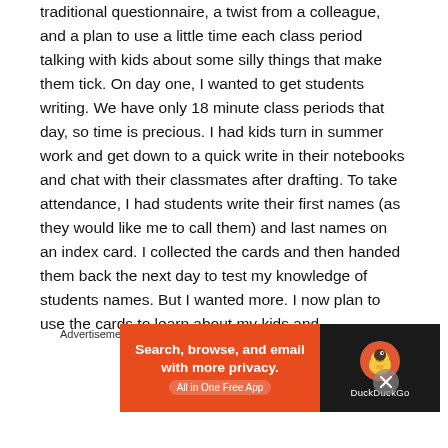traditional questionnaire, a twist from a colleague, and a plan to use a little time each class period talking with kids about some silly things that make them tick. On day one, I wanted to get students writing. We have only 18 minute class periods that day, so time is precious. I had kids turn in summer work and get down to a quick write in their notebooks and chat with their classmates after drafting. To take attendance, I had students write their first names (as they would like me to call them) and last names on an index card. I collected the cards and then handed them back the next day to test my knowledge of students names. But I wanted more. I now plan to use the cards to learn about my kids and
[Figure (other): DuckDuckGo advertisement banner: orange left panel with text 'Search, browse, and email with more privacy. All in One Free App', dark right panel with DuckDuckGo duck logo and brand name.]